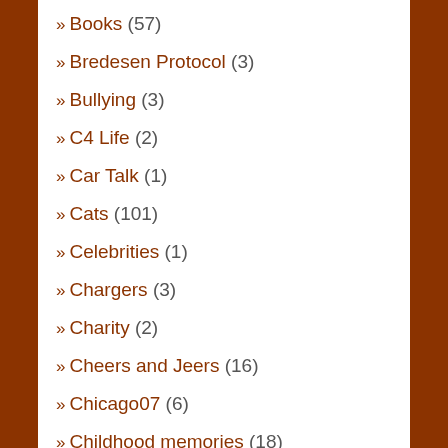» Books (57)
» Bredesen Protocol (3)
» Bullying (3)
» C4 Life (2)
» Car Talk (1)
» Cats (101)
» Celebrities (1)
» Chargers (3)
» Charity (2)
» Cheers and Jeers (16)
» Chicago07 (6)
» Childhood memories (18)
» Christmas (1)
» Christmas lights (21)
» Communication (1)
» Complaint Box (5)